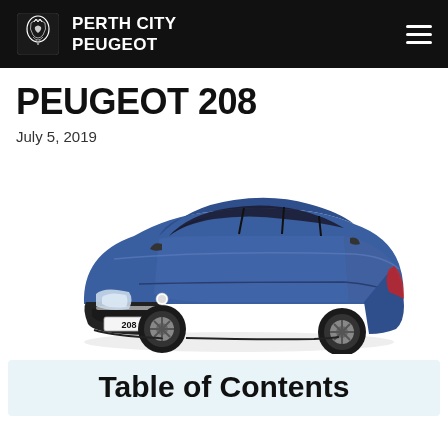PERTH CITY PEUGEOT
PEUGEOT 208
July 5, 2019
[Figure (photo): Blue Peugeot 208 hatchback car photographed from a 3/4 front-left angle on a white background, with a licence plate reading '208'.]
Table of Contents